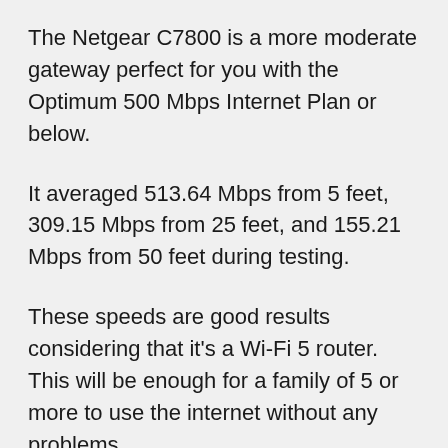The Netgear C7800 is a more moderate gateway perfect for you with the Optimum 500 Mbps Internet Plan or below.
It averaged 513.64 Mbps from 5 feet, 309.15 Mbps from 25 feet, and 155.21 Mbps from 50 feet during testing.
These speeds are good results considering that it's a Wi-Fi 5 router. This will be enough for a family of 5 or more to use the internet without any problems.
The modem in the gateway is DOCSIS 3.1, which, as already mentioned, makes it future-proof when Optimum updates its internet to DOCSIS 3.1.